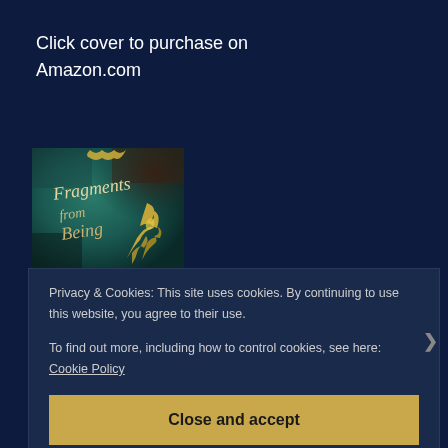Click cover to purchase on
Amazon.com
[Figure (illustration): Book cover for 'Fragments from Being' — dark teal textured background with cursive gold/white script text reading 'Fragments from Being' and a decorative golden floral/dragon motif in the lower right]
Privacy & Cookies: This site uses cookies. By continuing to use this website, you agree to their use.
To find out more, including how to control cookies, see here: Cookie Policy
Close and accept